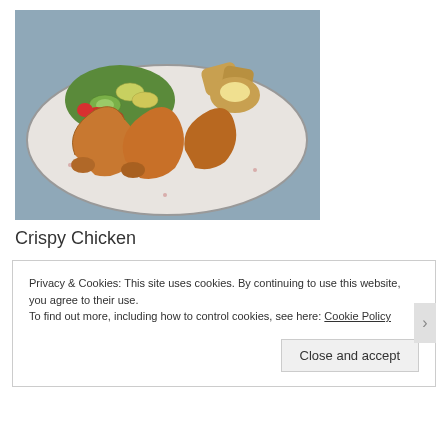[Figure (photo): A plate of crispy chicken drumsticks with a fresh fruit and vegetable salad including strawberries, apple slices, cucumber, and greens, along with potato wedges, served on a white decorative plate on a blue surface.]
Crispy Chicken
Privacy & Cookies: This site uses cookies. By continuing to use this website, you agree to their use.
To find out more, including how to control cookies, see here: Cookie Policy
Close and accept